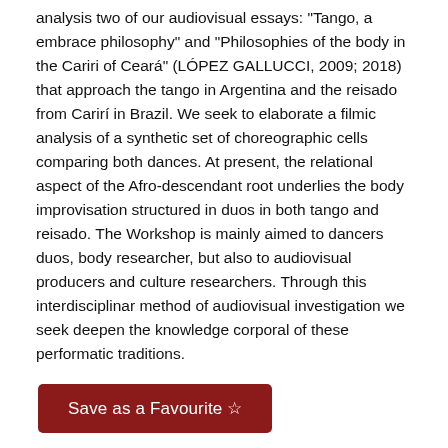analysis two of our audiovisual essays: "Tango, a embrace philosophy" and "Philosophies of the body in the Cariri of Ceará" (LÓPEZ GALLUCCI, 2009; 2018) that approach the tango in Argentina and the reisado from Carirí in Brazil. We seek to elaborate a filmic analysis of a synthetic set of choreographic cells comparing both dances. At present, the relational aspect of the Afro-descendant root underlies the body improvisation structured in duos in both tango and reisado. The Workshop is mainly aimed to dancers duos, body researcher, but also to audiovisual producers and culture researchers. Through this interdisciplinar method of audiovisual investigation we seek deepen the knowledge corporal of these performatic traditions.
Save as a Favourite ☆
Author Information